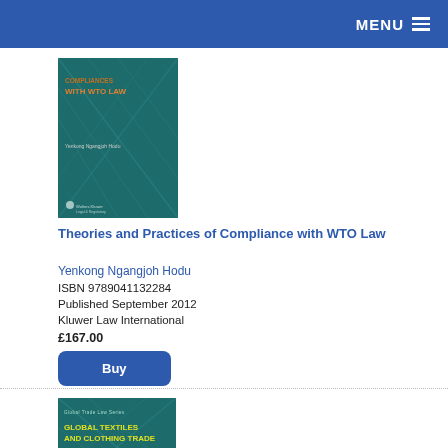MENU
[Figure (illustration): Book cover: Theories and Practices of Compliance with WTO Law, teal background with geometric pattern, Wolters Kluwer logo]
Theories and Practices of Compliance with WTO Law
Yenkong Ngangjoh Hodu
ISBN 9789041132284
Published September 2012
Kluwer Law International
£167.00
Buy
[Figure (illustration): Book cover: Global Textiles and Clothing Trade, Trade Policy Perspectives, teal background with geometric pattern, Global Trade Law Series]